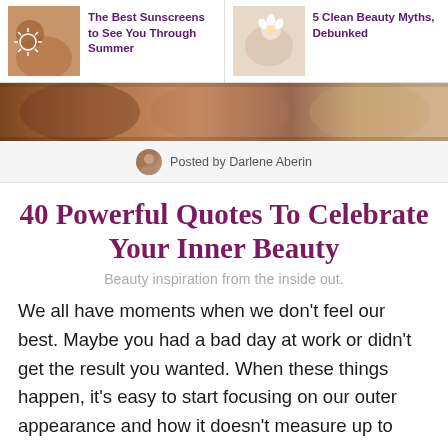The Best Sunscreens to See You Through Summer | 5 Clean Beauty Myths, Debunked
[Figure (photo): Hero banner with diverse people showing skin, summer lifestyle]
Posted by Darlene Aberin
40 Powerful Quotes To Celebrate Your Inner Beauty
Beauty inspiration from the inside out.
We all have moments when we don't feel our best. Maybe you had a bad day at work or didn't get the result you wanted. When these things happen, it's easy to start focusing on our outer appearance and how it doesn't measure up to